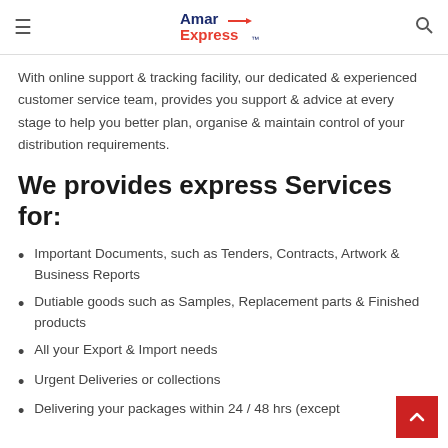Amar Express [logo]
With online support & tracking facility, our dedicated & experienced customer service team, provides you support & advice at every stage to help you better plan, organise & maintain control of your distribution requirements.
We provides express Services for:
Important Documents, such as Tenders, Contracts, Artwork & Business Reports
Dutiable goods such as Samples, Replacement parts & Finished products
All your Export & Import needs
Urgent Deliveries or collections
Delivering your packages within 24 / 48 hrs (except